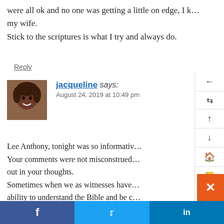were all ok and no one was getting a little on edge, I k... my wife.
Stick to the scriptures is what I try and always do.
Reply
jacqueline says:
August 24, 2019 at 10:49 pm
Lee Anthony, tonight was so informativ... Your comments were not misconstrued... out in your thoughts.
Sometimes when we as witnesses have... ability to understand the Bible and be c...
Your comment on the fact that the Bibl... understand it and quote it with convicti...
How do we know Daniel wrote the boo... can take that to the bank and cash it!